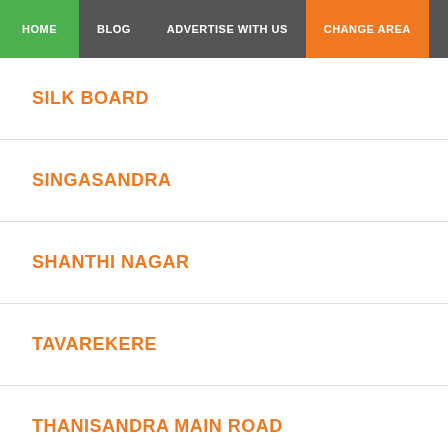HOME | BLOG | ADVERTISE WITH US | CHANGE AREA
SILK BOARD
SINGASANDRA
SHANTHI NAGAR
TAVAREKERE
THANISANDRA MAIN ROAD
THUBARAHALLI, WHITEFIELD MAIN ROAD
SOOR